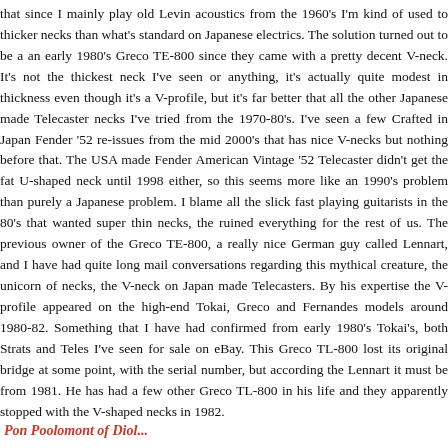that since I mainly play old Levin acoustics from the 1960's I'm kind of used to thicker necks than what's standard on Japanese electrics. The solution turned out to be a an early 1980's Greco TE-800 since they came with a pretty decent V-neck. It's not the thickest neck I've seen or anything, it's actually quite modest in thickness even though it's a V-profile, but it's far better that all the other Japanese made Telecaster necks I've tried from the 1970-80's. I've seen a few Crafted in Japan Fender '52 re-issues from the mid 2000's that has nice V-necks but nothing before that. The USA made Fender American Vintage '52 Telecaster didn't get the fat U-shaped neck until 1998 either, so this seems more like an 1990's problem than purely a Japanese problem. I blame all the slick fast playing guitarists in the 80's that wanted super thin necks, the ruined everything for the rest of us. The previous owner of the Greco TE-800, a really nice German guy called Lennart, and I have had quite long mail conversations regarding this mythical creature, the unicorn of necks, the V-neck on Japan made Telecasters. By his expertise the V-profile appeared on the high-end Tokai, Greco and Fernandes models around 1980-82. Something that I have had confirmed from early 1980's Tokai's, both Strats and Teles I've seen for sale on eBay. This Greco TL-800 lost its original bridge at some point, with the serial number, but according the Lennart it must be from 1981. He has had a few other Greco TL-800 in his life and they apparently stopped with the V-shaped necks in 1982.
Pon Poolomont of Diol...